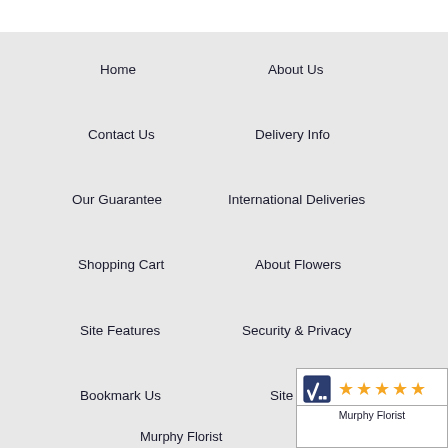Home
About Us
Contact Us
Delivery Info
Our Guarantee
International Deliveries
Shopping Cart
About Flowers
Site Features
Security & Privacy
Bookmark Us
Site Map
[Figure (logo): Murphy Florist 5-star rating badge with checkmark icon and five orange stars]
Murphy Florist